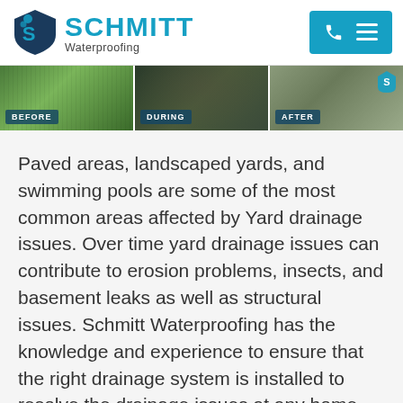Schmitt Waterproofing
[Figure (photo): Three-panel before/during/after photo strip showing yard drainage work]
Paved areas, landscaped yards, and swimming pools are some of the most common areas affected by Yard drainage issues. Over time yard drainage issues can contribute to erosion problems, insects, and basement leaks as well as structural issues. Schmitt Waterproofing has the knowledge and experience to ensure that the right drainage system is installed to resolve the drainage issues at any home.